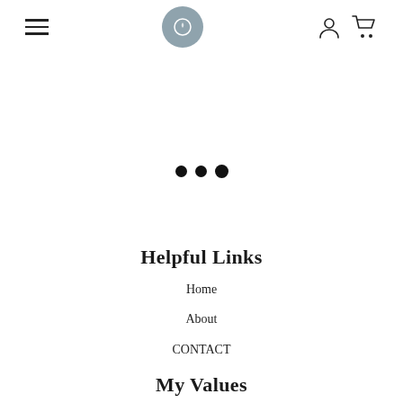Navigation header with hamburger menu, logo, user and cart icons
[Figure (other): Three loading dots in the center of the page]
Helpful Links
Home
About
CONTACT
My Values